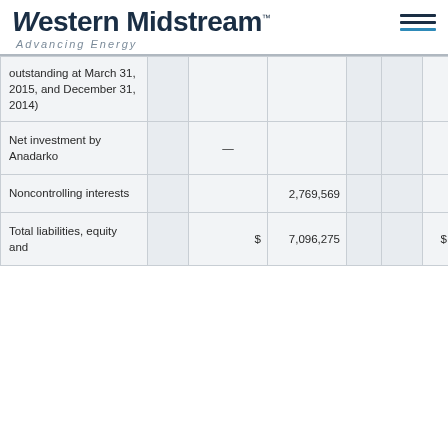Western Midstream™ — Advancing Energy
| Description |  |  | Value1 |  |  |  | Value2 |
| --- | --- | --- | --- | --- | --- | --- | --- |
| outstanding at March 31, 2015, and December 31, 2014) |  |  |  |  |  |  |  |
| Net investment by Anadarko |  | — |  |  |  | 122,509 |  |
| Noncontrolling interests |  | 2,769,569 |  |  |  | 2,751,155 |  |
| Total liabilities, equity and |  | $ | 7,096,275 |  |  | $ | 6,95 |